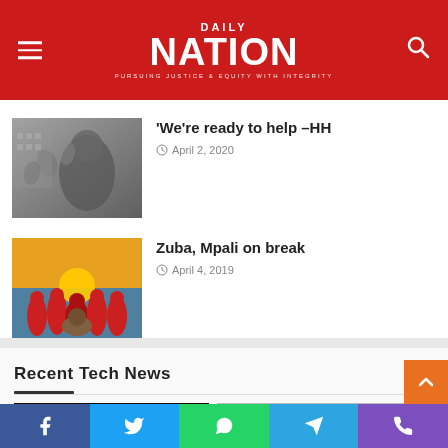[Figure (logo): Daily Nation newspaper logo on red header background with hamburger menu icon on left and search icon on right]
'We're ready to help –HH
April 2, 2020
Zuba, Mpali on break
April 4, 2019
Recent Tech News
[Figure (photo): Two tech news thumbnail images at the bottom]
Social share bar: Facebook, Twitter, WhatsApp, Telegram, Phone